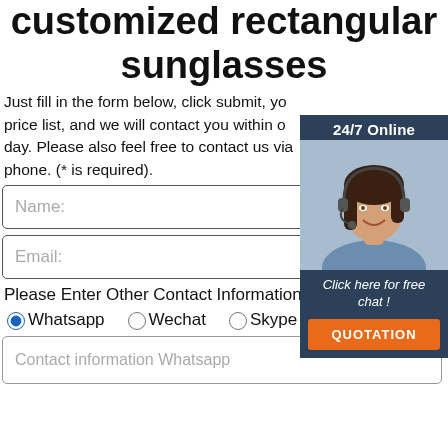customized rectangular sunglasses
Just fill in the form below, click submit, you will get the price list, and we will contact you within one working day. Please also feel free to contact us via email or phone. (* is required).
[Figure (infographic): 24/7 Online chat widget with a female customer service agent wearing a headset, dark background, 'Click here for free chat!' text, and an orange QUOTATION button]
Name:
Email:
Please Enter Other Contact Information
Whatsapp
Wechat
Skype
Viber
Contact information Whatsapp